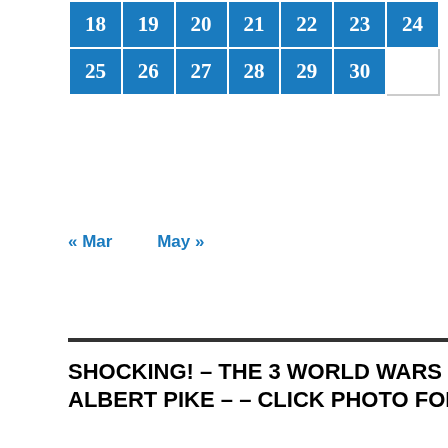| 18 | 19 | 20 | 21 | 22 | 23 | 24 |
| 25 | 26 | 27 | 28 | 29 | 30 |  |
« Mar    May »
SHOCKING! – THE 3 WORLD WARS PLAN OF ALBERT PIKE – – CLICK PHOTO FOR DETAILS!
[Figure (photo): Black and white portrait photograph of Albert Pike with the text 'Albert Pike' written above in bold italic font.]